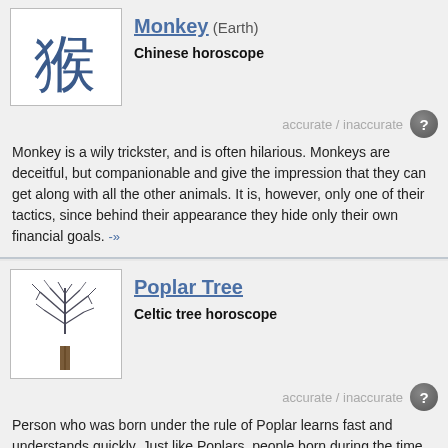Monkey (Earth)
Chinese horoscope
accurate / inaccurate
Monkey is a wily trickster, and is often hilarious. Monkeys are deceitful, but companionable and give the impression that they can get along with all the other animals. It is, however, only one of their tactics, since behind their appearance they hide only their own financial goals. -»
Poplar Tree
Celtic tree horoscope
accurate / inaccurate
Person who was born under the rule of Poplar learns fast and understands quickly. Just like Poplars, people born during the time of their rule are direct and straightforward. They often have artistic talents and a sense for beauty. -»
NUMEROLOGY
Life Path  8